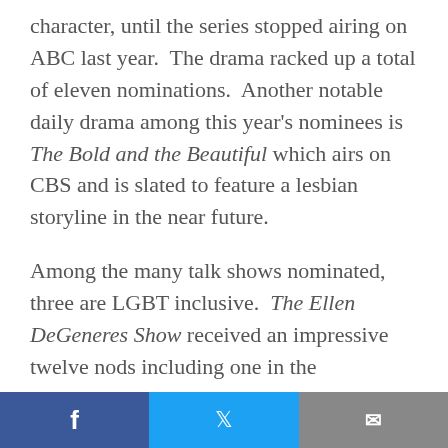character, until the series stopped airing on ABC last year.  The drama racked up a total of eleven nominations.  Another notable daily drama among this year's nominees is The Bold and the Beautiful which airs on CBS and is slated to feature a lesbian storyline in the near future.
Among the many talk shows nominated, three are LGBT inclusive.  The Ellen DeGeneres Show received an impressive twelve nods including one in the Outstanding Talk Show/Entertainment category.  Also nominated in that category is the CBS program The Talk which was created by out co-host Sara Gilbert.  The program received two nominations, as did The Nate Berkus Show, which is sadly scheduled
[Facebook] [Twitter] [Email]